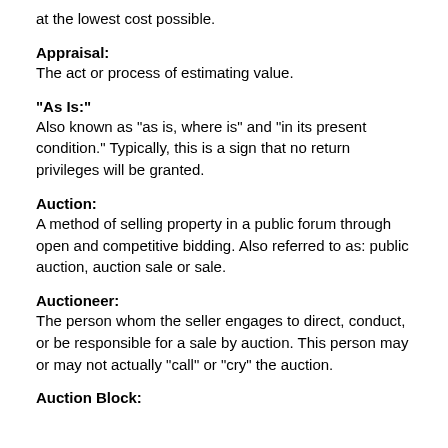at the lowest cost possible.
Appraisal:
The act or process of estimating value.
"As Is:"
Also known as "as is, where is" and "in its present condition." Typically, this is a sign that no return privileges will be granted.
Auction:
A method of selling property in a public forum through open and competitive bidding. Also referred to as: public auction, auction sale or sale.
Auctioneer:
The person whom the seller engages to direct, conduct, or be responsible for a sale by auction. This person may or may not actually "call" or "cry" the auction.
Auction Block: